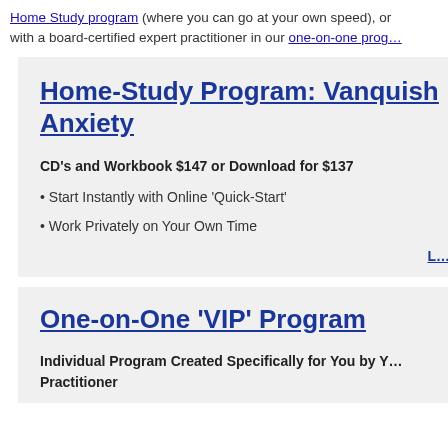Home Study program (where you can go at your own speed), or with a board-certified expert practitioner in our one-on-one prog…
Home-Study Program: Vanquish Anxiety
CD's and Workbook $147 or Download for $137
• Start Instantly with Online 'Quick-Start'
• Work Privately on Your Own Time
One-on-One 'VIP' Program
Individual Program Created Specifically for You by Y… Practitioner